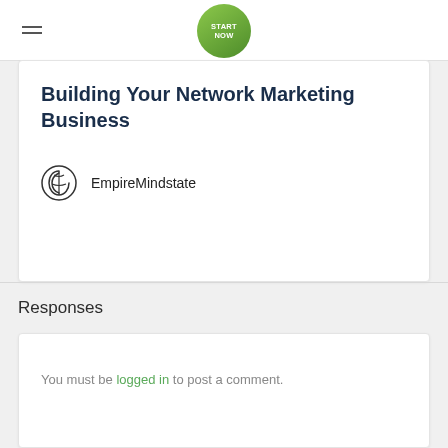START NOW
Building Your Network Marketing Business
EmpireMindstate
Responses
You must be logged in to post a comment.